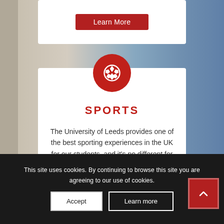[Figure (screenshot): Background image of university building/sports area with grey stone and blue sky]
Learn More
[Figure (illustration): Red circle icon with white football/soccer ball symbol]
SPORTS
The University of Leeds provides one of the best sporting experiences in the UK for our students, and it's no different for our visitors.
Learn More
This site uses cookies. By continuing to browse this site you are agreeing to our use of cookies.
Accept
Learn more